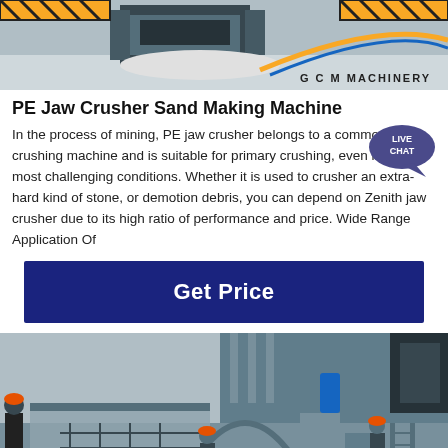[Figure (photo): GCM Machinery industrial crusher equipment at a facility with yellow safety barriers]
PE Jaw Crusher Sand Making Machine
In the process of mining, PE jaw crusher belongs to a common crushing machine and is suitable for primary crushing, even in the most challenging conditions. Whether it is used to crusher an extra-hard kind of stone, or demotion debris, you can depend on Zenith jaw crusher due to its high ratio of performance and price. Wide Range Application Of
Get Price
[Figure (photo): Construction site photo showing workers in hard hats working on concrete structures with rebar and building materials]